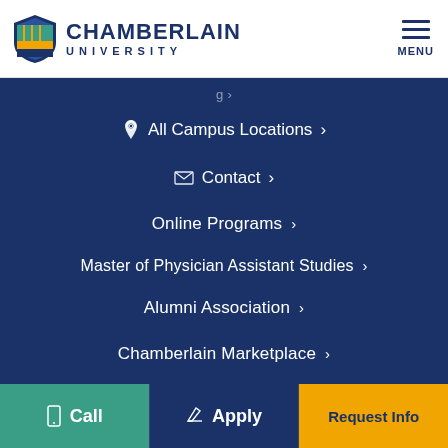Chamberlain University
All Campus Locations ›
Contact ›
Online Programs ›
Master of Physician Assistant Studies ›
Alumni Association ›
Chamberlain Marketplace ›
Military ›
Leadership ›
Call  Apply  Request Info